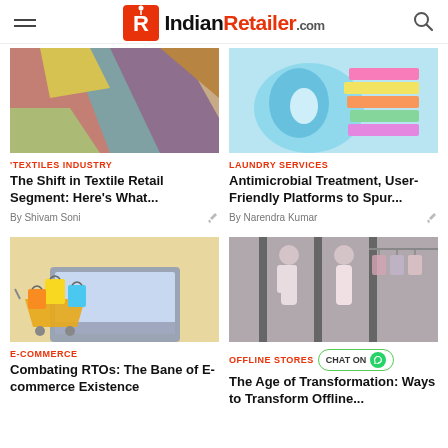IndianRetailer.com
[Figure (photo): Colorful fabric/textile swatches arranged overlapping]
TEXTILES INDUSTRY
The Shift in Textile Retail Segment: Here's What...
By Shivam Soni
[Figure (photo): Steam iron with stack of colorful folded clothes]
LAUNDRY SERVICES
Antimicrobial Treatment, User-Friendly Platforms to Spur...
By Narendra Kumar
[Figure (photo): Shopping cart with yellow bags in front of laptop screen]
E-COMMERCE
Combating RTOs: The Bane of E-commerce Existence
[Figure (photo): Mannequins with clothes in a retail store]
OFFLINE STORES
The Age of Transformation: Ways to Transform Offline...